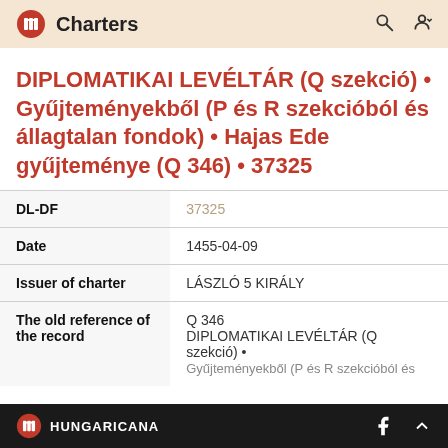Charters
DIPLOMATIKAI LEVÉLTÁR (Q szekció) • Gyűjteményekből (P és R szekcióból és állagtalan fondok) • Hajas Ede gyűjteménye (Q 346) • 37325
| Field | Value |
| --- | --- |
| DL-DF | 37325 |
| Date | 1455-04-09 |
| Issuer of charter | LÁSZLÓ 5 KIRÁLY |
| The old reference of the record | Q 346
DIPLOMATIKAI LEVÉLTÁR (Q szekció) •
Gyűjteményekből (P és R szekcióból és |
HUNGARICANA